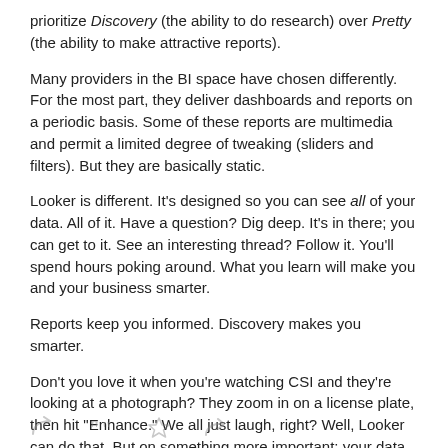prioritize Discovery (the ability to do research) over Pretty (the ability to make attractive reports).
Many providers in the BI space have chosen differently. For the most part, they deliver dashboards and reports on a periodic basis. Some of these reports are multimedia and permit a limited degree of tweaking (sliders and filters). But they are basically static.
Looker is different. It's designed so you can see all of your data. All of it. Have a question? Dig deep. It's in there; you can get to it. See an interesting thread? Follow it. You'll spend hours poking around. What you learn will make you and your business smarter.
Reports keep you informed. Discovery makes you smarter.
Don't you love it when you're watching CSI and they're looking at a photograph? They zoom in on a license plate, then hit "Enhance." We all just laugh, right? Well, Looker can do that. But on something more important: your data. And we do it well.
It's not that Looker isn't pretty too, but nothing beats discovery.
[Figure (illustration): Social media / action icons: share, quote, star, forward]